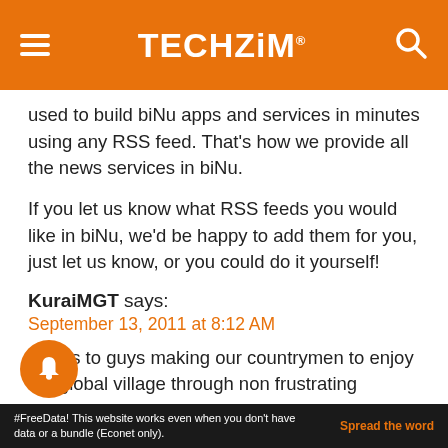TECHZiM
used to build biNu apps and services in minutes using any RSS feed. That’s how we provide all the news services in biNu.
If you let us know what RSS feeds you would like in biNu, we’d be happy to add them for you, just let us know, or you could do it yourself!
KuraiMGT says:
September 13, 2011 at 8:12 AM
Kudos to guys making our countrymen to enjoy the global village through non frustrating means. On a separate note....Have been trying to figure out my farming budget and .........you guessed right, very little content on agric inputs
#FreeData! This website works even when you don't have data or a bundle (Econet only).